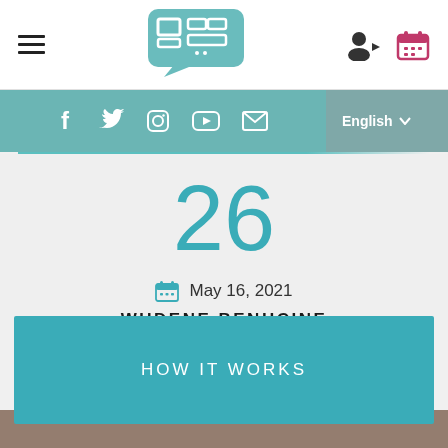[Figure (logo): Website logo with Arabic text inside a speech bubble icon]
[Figure (infographic): Social media icons: Facebook, Twitter, Instagram, YouTube, Email; Language selector showing English]
26
May 16, 2021
WUDENE BENHCINE
HOW IT WORKS